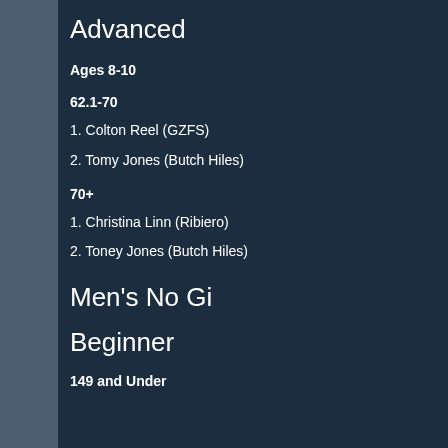Advanced
Ages 8-10
62.1-70
1. Colton Reel (GZFS)
2. Tomy Jones (Butch Hiles)
70+
1. Christina Linn (Ribiero)
2. Toney Jones (Butch Hiles)
Men's No Gi
Beginner
149 and Under